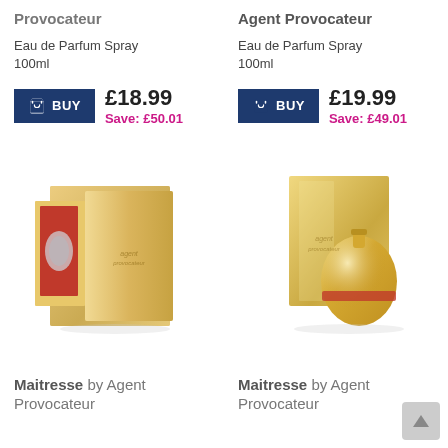Provocateur
Eau de Parfum Spray 100ml
BUY £18.99 Save: £50.01
Agent Provocateur
Eau de Parfum Spray 100ml
BUY £19.99 Save: £49.01
[Figure (photo): Gold perfume box with red interior and oval bottle, Agent Provocateur Maitresse]
[Figure (photo): Gold metallic egg-shaped perfume bottle with gold box, Agent Provocateur Maitresse]
Maitresse by Agent Provocateur
Maitresse by Agent Provocateur